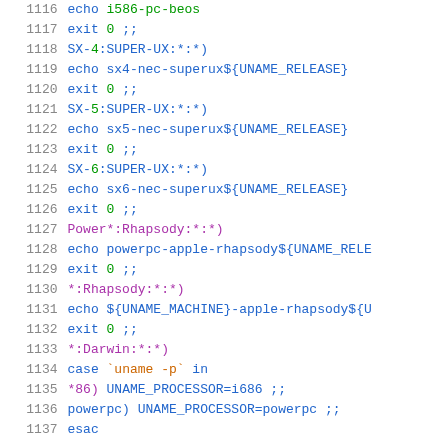[Figure (screenshot): Code listing showing shell script lines 1116-1137 with syntax highlighting. Line numbers in gray on left, code in blue/green/purple monospace font on right.]